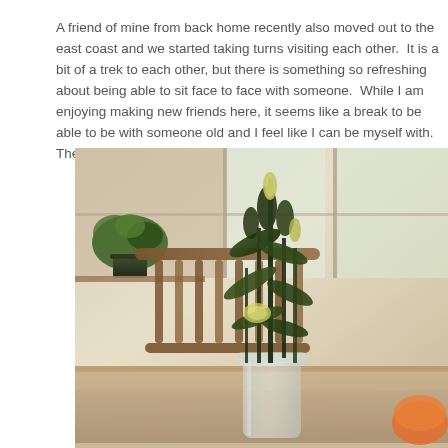A friend of mine from back home recently also moved out to the east coast and we started taking turns visiting each other.  It is a bit of a trek to each other, but there is something so refreshing about being able to sit face to face with someone.  While I am enjoying making new friends here, it seems like a break to be able to be with someone old and I feel like I can be myself with.  The longest drive to a play date
[Figure (photo): A photo of a dining room table with a glass jar vase containing green lily stems with yellow buds in the foreground. In the background are wooden spindle chairs, a wooden table, and large windows with natural light. A green potted plant is visible in the upper left on a shelf or table.]